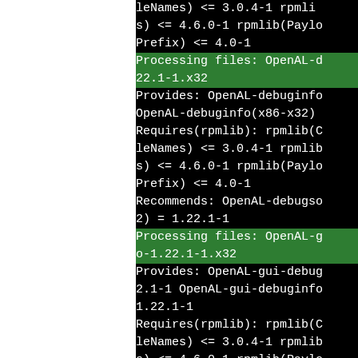[Figure (screenshot): Terminal output showing RPM package processing for OpenAL debuginfo and OpenAL-gui-debuginfo packages on x32 architecture. Green highlighted lines show 'Processing files' status messages. Black background with white and green monospace text.]